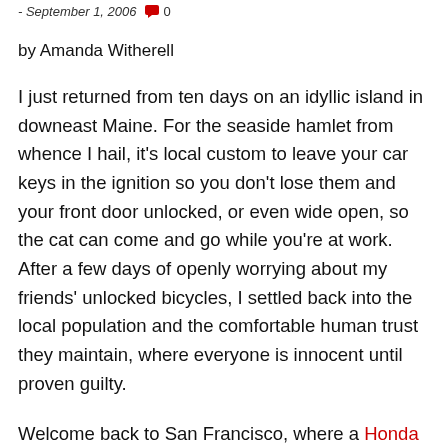- September 1, 2006  0
by Amanda Witherell
I just returned from ten days on an idyllic island in downeast Maine. For the seaside hamlet from whence I hail, it's local custom to leave your car keys in the ignition so you don't lose them and your front door unlocked, or even wide open, so the cat can come and go while you're at work. After a few days of openly worrying about my friends' unlocked bicycles, I settled back into the local population and the comfortable human trust they maintain, where everyone is innocent until proven guilty.
Welcome back to San Francisco, where a Honda Pilot is the most common car of choice, and the